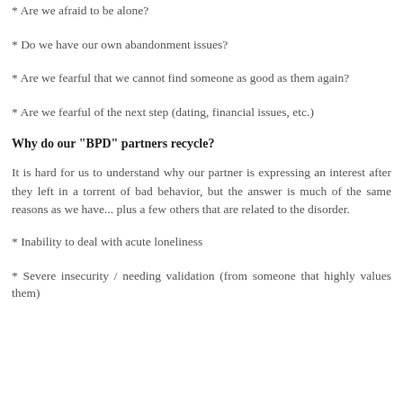* Are we afraid to be alone?
* Do we have our own abandonment issues?
* Are we fearful that we cannot find someone as good as them again?
* Are we fearful of the next step (dating, financial issues, etc.)
Why do our "BPD" partners recycle?
It is hard for us to understand why our partner is expressing an interest after they left in a torrent of bad behavior, but the answer is much of the same reasons as we have... plus a few others that are related to the disorder.
* Inability to deal with acute loneliness
* Severe insecurity / needing validation (from someone that highly values them)